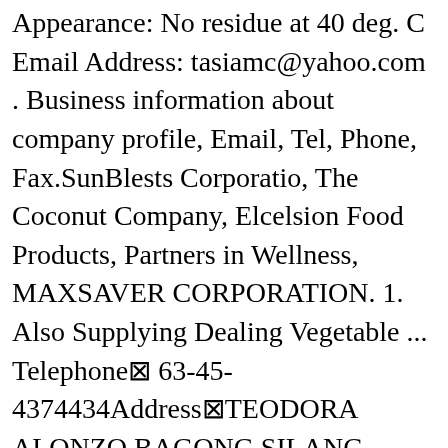Appearance: No residue at 40 deg. C Email Address: tasiamc@yahoo.com . Business information about company profile, Email, Tel, Phone, Fax.SunBlests Corporatio, The Coconut Company, Elcelsion Food Products, Partners in Wellness, MAXSAVER CORPORATION. 1. Also Supplying Dealing Vegetable ... Telephone▣ 63-45-4374434Address▣TEODORA ALONZO BAGONG SILANG, Telephone▣ 63-02-3864503Address▣UNIT 1024 GA TOWER 2, EDSA. Burket is a free B2B marketplace in the Philippines. PHP 999. Google Map. We are the manufacturer of Spring Cooking Oil and other brands such as Taal, Puro, Vista, and Freeto. Don't know your target market? Red Palm Oil (the unrefined variety) is best. all over the world. If ever you are interested in coconut trade in the Philippines, please connect with me. We offer all petroleum